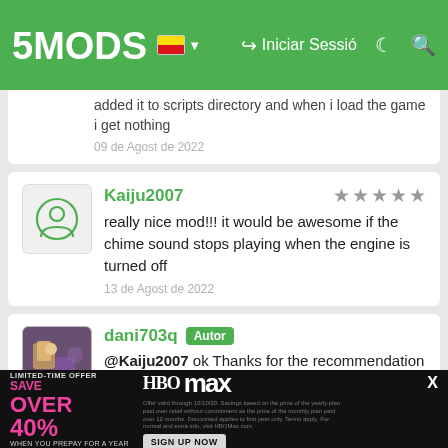5MODS | Iniciar Sessió
added it to scripts directory and when i load the game i get nothing
09 de Agost de 2022
Kaiju2007
really nice mod!!! it would be awesome if the chime sound stops playing when the engine is turned off
13 de Agost de 2022
dani703q Autor
@Kaiju2007 ok Thanks for the recommendation i Will work on it now
16 de Agost de 2022
dani703q Autor
@glogangboydt you need to download all the requirements READ the Descreption!!! NativeUI ScripthookV nAudio.dll
[Figure (infographic): HBO Max advertisement banner: LIMITED-TIME OFFER SAVE OVER 40% WHEN YOU PREPAY FOR A YEAR - HBO max logo with SIGN UP NOW button]